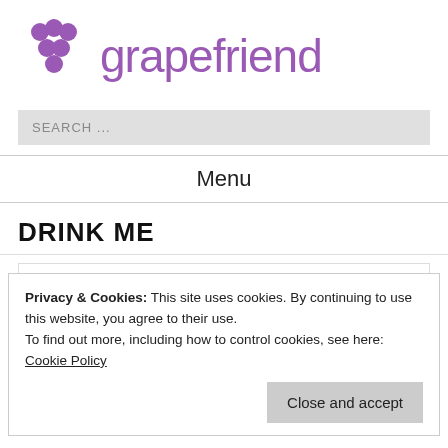grapefriend
SEARCH ...
Menu
DRINK ME
Privacy & Cookies: This site uses cookies. By continuing to use this website, you agree to their use.
To find out more, including how to control cookies, see here: Cookie Policy
Close and accept
Yes, March 1 is National Pig Day. You've got your pork,